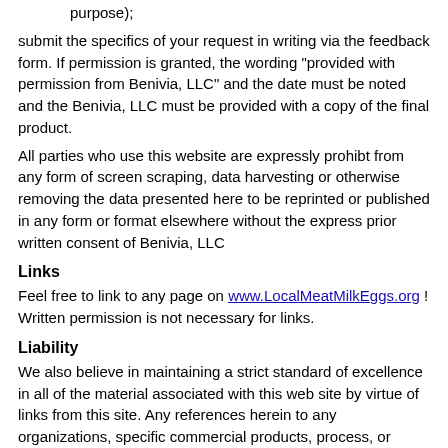purpose);
submit the specifics of your request in writing via the feedback form. If permission is granted, the wording "provided with permission from Benivia, LLC" and the date must be noted and the Benivia, LLC must be provided with a copy of the final product.
All parties who use this website are expressly prohibt from any form of screen scraping, data harvesting or otherwise removing the data presented here to be reprinted or published in any form or format elsewhere without the express prior written consent of Benivia, LLC
Links
Feel free to link to any page on www.LocalMeatMilkEggs.org ! Written permission is not necessary for links.
Liability
We also believe in maintaining a strict standard of excellence in all of the material associated with this web site by virtue of links from this site. Any references herein to any organizations, specific commercial products, process, or service by trade name, trademark, manufacturer, or otherwise, do not necessarily constitute or imply its endorsement or recommendation, except the the extent that our experiences and those related by site visitors pass on. In other words, any endorsements are snapshots in time